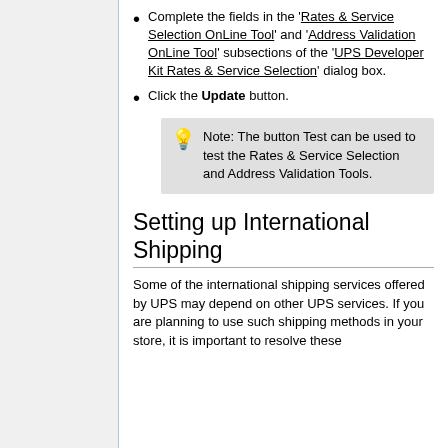Complete the fields in the 'Rates & Service Selection OnLine Tool' and 'Address Validation OnLine Tool' subsections of the 'UPS Developer Kit Rates & Service Selection' dialog box.
Click the Update button.
Note: The button Test can be used to test the Rates & Service Selection and Address Validation Tools.
Setting up International Shipping
Some of the international shipping services offered by UPS may depend on other UPS services. If you are planning to use such shipping methods in your store, it is important to resolve these